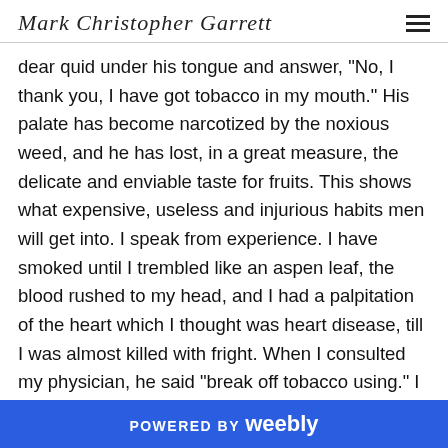Mark Christopher Garrett
dear quid under his tongue and answer, "No, I thank you, I have got tobacco in my mouth." His palate has become narcotized by the noxious weed, and he has lost, in a great measure, the delicate and enviable taste for fruits. This shows what expensive, useless and injurious habits men will get into. I speak from experience. I have smoked until I trembled like an aspen leaf, the blood rushed to my head, and I had a palpitation of the heart which I thought was heart disease, till I was almost killed with fright. When I consulted my physician, he said "break off tobacco using." I was not only injuring my health and spending a great deal of money, but I was setting a bad example. I obeyed his counsel. No young man in the
POWERED BY weebly